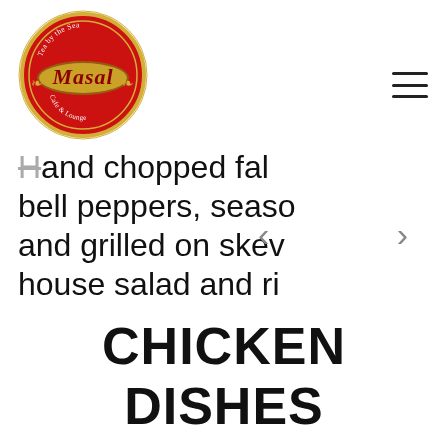[Figure (logo): Masal Cafe & Lounge circular logo with red background and gold border. Text reads 'Tea by the Sea' at top, 'Masal' in cursive center, 'Cafe & Lounge' at bottom.]
Hand chopped fal bell peppers, seaso and grilled on skev house salad and ri
CHICKEN DISHES